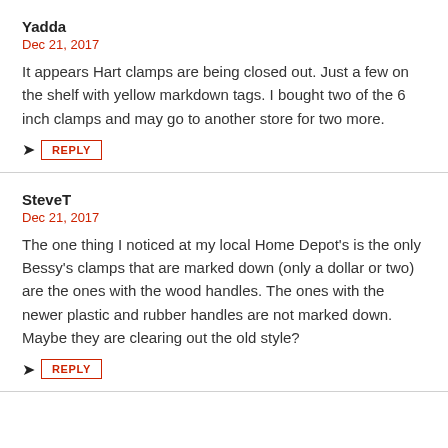Yadda
Dec 21, 2017
It appears Hart clamps are being closed out. Just a few on the shelf with yellow markdown tags. I bought two of the 6 inch clamps and may go to another store for two more.
REPLY
SteveT
Dec 21, 2017
The one thing I noticed at my local Home Depot's is the only Bessy's clamps that are marked down (only a dollar or two) are the ones with the wood handles. The ones with the newer plastic and rubber handles are not marked down. Maybe they are clearing out the old style?
REPLY